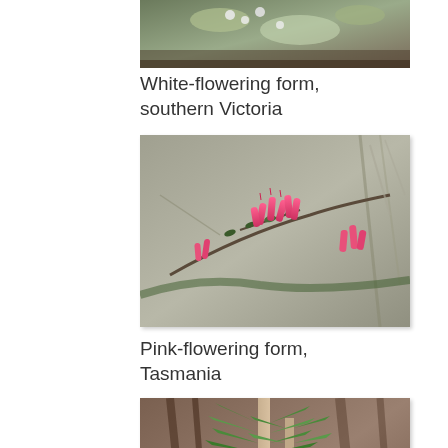[Figure (photo): Partial top photo showing white-flowering plant form, cropped at top of page]
White-flowering form, southern Victoria
[Figure (photo): Pink-flowering form of a heath or similar plant with tubular pink flowers on branches, against blurred grey background]
Pink-flowering form, Tasmania
[Figure (photo): Green leafy plant stems with needle-like leaves and reddish buds or flowers at the base, against blurred brown background]